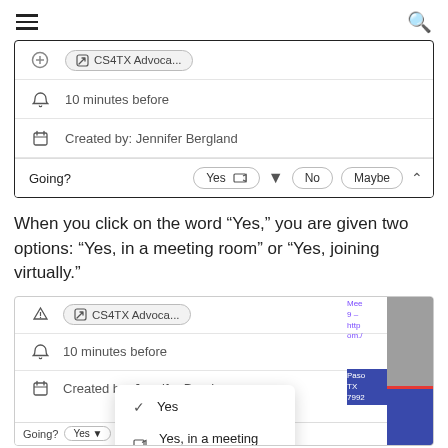hamburger menu | search icon
[Figure (screenshot): Google Calendar event card showing CS4TX Advoca... attachment, 10 minutes before reminder, Created by: Jennifer Bergland, with Going? button row showing Yes (with video icon), dropdown arrow, No, Maybe, and chevron up]
When you click on the word “Yes,” you are given two options: “Yes, in a meeting room” or “Yes, joining virtually.”
[Figure (screenshot): Second Google Calendar event card partially shown with CS4TX Advoca... attachment, 10 minutes before reminder, Created by: Jennifer Berglan, and a dropdown overlay showing checkmark next to Yes, and Yes, in a meeting room option below. A blue sidebar on the right shows meeting details partially visible.]